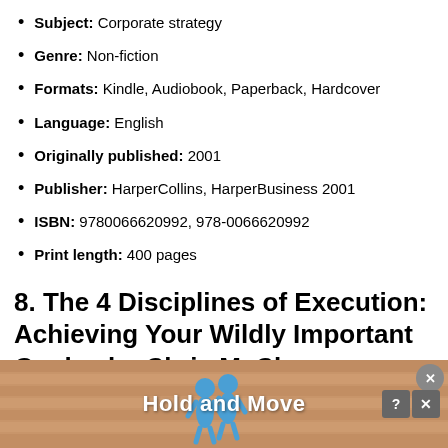Subject: Corporate strategy
Genre: Non-fiction
Formats: Kindle, Audiobook, Paperback, Hardcover
Language: English
Originally published: 2001
Publisher: HarperCollins, HarperBusiness 2001
ISBN: 9780066620992, 978-0066620992
Print length: 400 pages
8. The 4 Disciplines of Execution: Achieving Your Wildly Important Goals –by Chris McChesney, Sean
[Figure (illustration): Advertisement banner at bottom showing 'Hold and Move' text with blue cartoon figures and a wooden/brick background texture. Includes close and help buttons.]